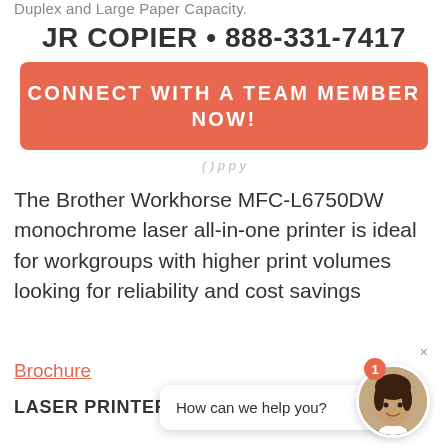Duplex and Large Paper Capacity.
JR COPIER • 888-331-7417
CONNECT WITH A TEAM MEMBER NOW!
The Brother Workhorse MFC-L6750DW monochrome laser all-in-one printer is ideal for workgroups with higher print volumes looking for reliability and cost savings
Brochure
LASER PRINTER RENTALS & LEASING
How can we help you?